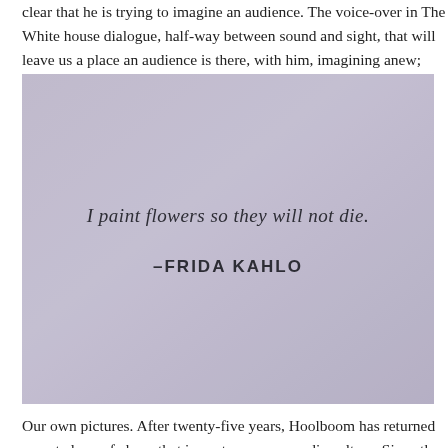clear that he is trying to imagine an audience. The voice-over in The White house dialogue, half-way between sound and sight, that will leave us a place an audience is there, with him, imagining anew; owning our own pictures w
[Figure (photo): A photograph of a page or card with text reading 'I paint flowers so they will not die.' attributed to '–FRIDA KAHLO' in dark sans-serif font on a light lavender/grey background.]
Our own pictures. After twenty-five years, Hoolboom has returned repeated sea of chaos that is contemporary media culture. Since the mid-nineties, w